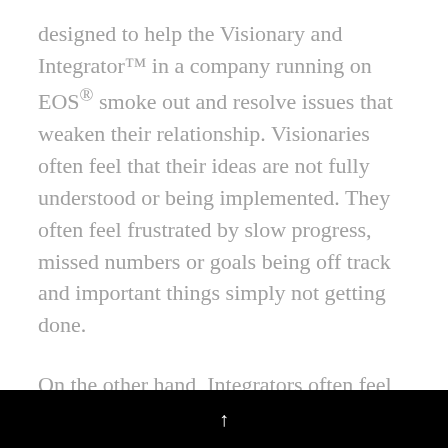designed to help the Visionary and Integrator™ in a company running on EOS® smoke out and resolve issues that weaken their relationship. Visionaries often feel that their ideas are not fully understood or being implemented. They often feel frustrated by slow progress, missed numbers or goals being off track and important things simply not getting done.
On the other hand, Integrators often feel like their Visionaries are too deep in the weeds – getting in their way as they attempt to run the day-to-day of the business, sending mixed signals to the troops as to whom they are directly accountable. At times Integrators feel